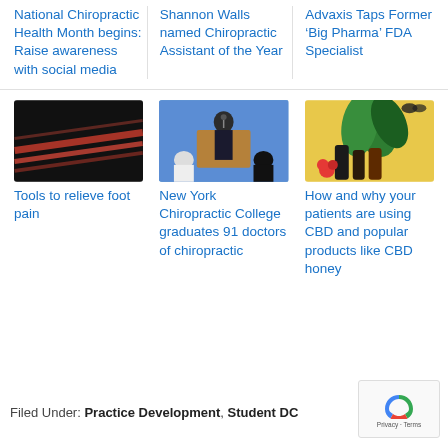National Chiropractic Health Month begins: Raise awareness with social media
Shannon Walls named Chiropractic Assistant of the Year
Advaxis Taps Former ‘Big Pharma’ FDA Specialist
[Figure (photo): Abstract motion blur with red streaks on dark background]
[Figure (photo): Person in graduation gown speaking at podium during a commencement ceremony]
[Figure (photo): Colorful arrangement of plants, flowers, and dark bottles on yellow background]
Tools to relieve foot pain
New York Chiropractic College graduates 91 doctors of chiropractic
How and why your patients are using CBD and popular products like CBD honey
Filed Under: Practice Development, Student DC